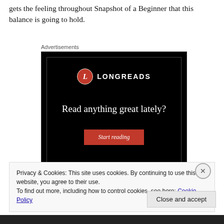gets the feeling throughout Snapshot of a Beginner that this balance is going to hold.
Advertisements
[Figure (screenshot): Longreads advertisement banner with black background, red circular L logo, white text reading 'Read anything great lately?' and a red 'Start reading' button.]
Privacy & Cookies: This site uses cookies. By continuing to use this website, you agree to their use.
To find out more, including how to control cookies, see here: Cookie Policy
Close and accept